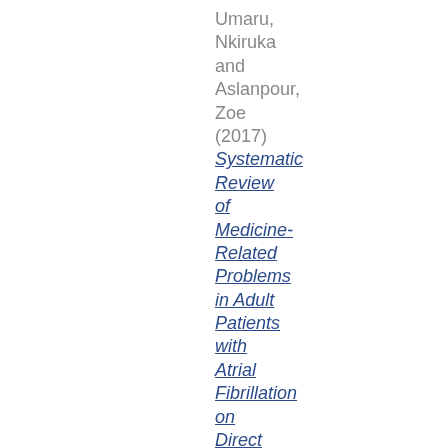Umaru, Nkiruka and Aslanpour, Zoe (2017)
Systematic Review of Medicine-Related Problems in Adult Patients with Atrial Fibrillation on Direct Oral Anticoagulants